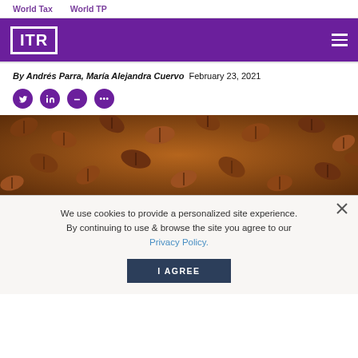World Tax    World TP
[Figure (logo): ITR (International Tax Review) logo — white text on purple background header bar with hamburger menu]
By Andrés Parra, María Alejandra Cuervo  February 23, 2021
[Figure (illustration): Row of four circular purple social sharing buttons: Twitter, LinkedIn, email/dash, and more (...)]
[Figure (photo): Close-up photograph of roasted coffee beans filling the entire frame, brown and dark tones]
We use cookies to provide a personalized site experience. By continuing to use & browse the site you agree to our Privacy Policy.
I AGREE